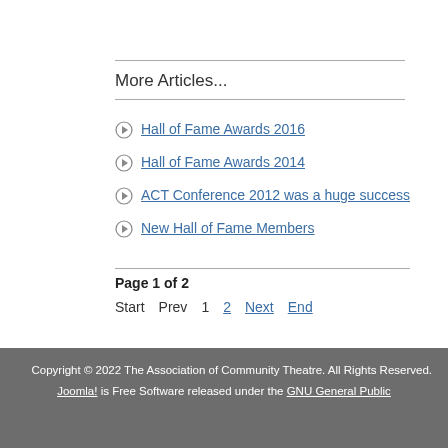More Articles...
Hall of Fame Awards 2016
Hall of Fame Awards 2014
ACT Conference 2012 was a huge success
New Hall of Fame Members
Page 1 of 2
Start  Prev  1  2  Next  End
Copyright © 2022 The Association of Community Theatre. All Rights Reserved.
Joomla! is Free Software released under the GNU General Public